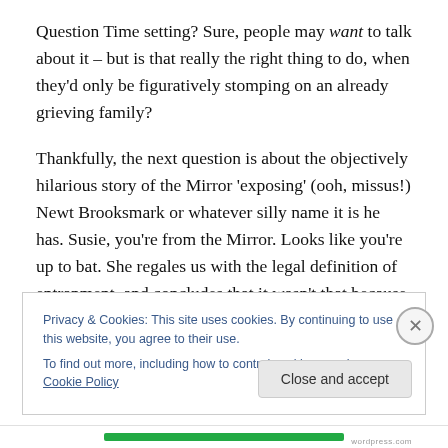Question Time setting? Sure, people may want to talk about it – but is that really the right thing to do, when they'd only be figuratively stomping on an already grieving family?
Thankfully, the next question is about the objectively hilarious story of the Mirror 'exposing' (ooh, missus!) Newt Brooksmark or whatever silly name it is he has. Susie, you're from the Mirror. Looks like you're up to bat. She regales us with the legal definition of entrapment, and concludes that it wasn't that because Newmark was an
Privacy & Cookies: This site uses cookies. By continuing to use this website, you agree to their use.
To find out more, including how to control cookies, see here: Cookie Policy
Close and accept